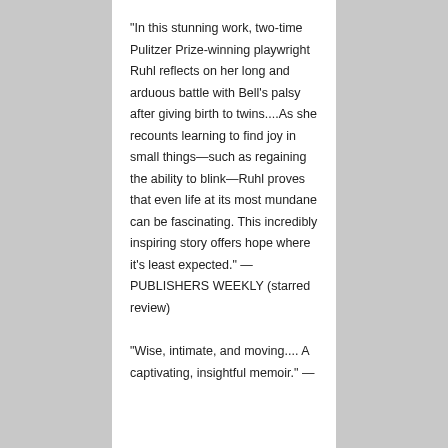"In this stunning work, two-time Pulitzer Prize-winning playwright Ruhl reflects on her long and arduous battle with Bell’s palsy after giving birth to twins....As she recounts learning to find joy in small things—such as regaining the ability to blink—Ruhl proves that even life at its most mundane can be fascinating. This incredibly inspiring story offers hope where it’s least expected.” —PUBLISHERS WEEKLY (starred review)
“Wise, intimate, and moving.... A captivating, insightful memoir.” —